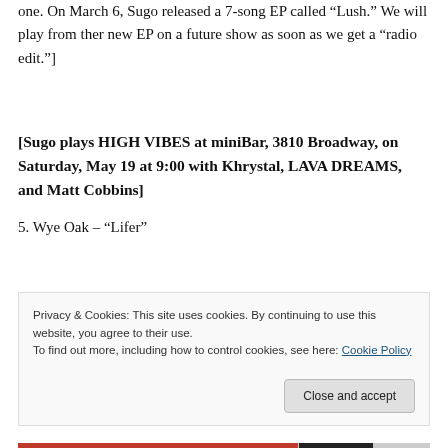one. On March 6, Sugo released a 7-song EP called “Lush.” We will play from ther new EP on a future show as soon as we get a “radio edit.”]
[Sugo plays HIGH VIBES at miniBar, 3810 Broadway, on Saturday, May 19 at 9:00 with Khrystal, LAVA DREAMS, and Matt Cobbins]
5. Wye Oak – “Lifer”
Privacy & Cookies: This site uses cookies. By continuing to use this website, you agree to their use.
To find out more, including how to control cookies, see here: Cookie Policy